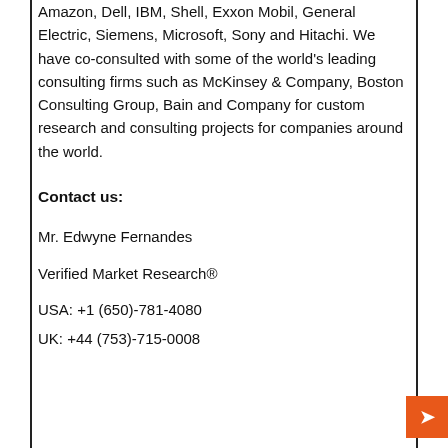Amazon, Dell, IBM, Shell, Exxon Mobil, General Electric, Siemens, Microsoft, Sony and Hitachi. We have co-consulted with some of the world's leading consulting firms such as McKinsey & Company, Boston Consulting Group, Bain and Company for custom research and consulting projects for companies around the world.
Contact us:
Mr. Edwyne Fernandes
Verified Market Research®
USA: +1 (650)-781-4080
UK: +44 (753)-715-0008